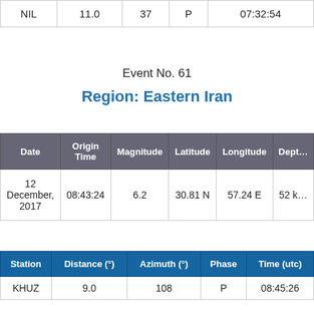| NIL | 11.0 | 37 | P | 07:32:54 |
Event No. 61
Region: Eastern Iran
| Date | Origin Time | Magnitude | Latitude | Longitude | Depth |
| --- | --- | --- | --- | --- | --- |
| 12 December, 2017 | 08:43:24 | 6.2 | 30.81 N | 57.24 E | 52 k… |
| Station | Distance (°) | Azimuth (°) | Phase | Time (utc) |
| --- | --- | --- | --- | --- |
| KHUZ | 9.0 | 108 | P | 08:45:26 |